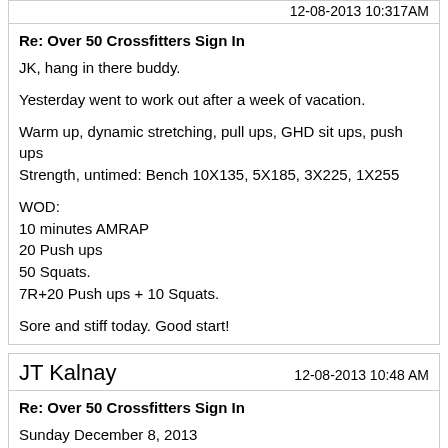12-08-2013 10:317AM
Re: Over 50 Crossfitters Sign In
JK, hang in there buddy.
Yesterday went to work out after a week of vacation.
Warm up, dynamic stretching, pull ups, GHD sit ups, push ups
Strength, untimed: Bench 10X135, 5X185, 3X225, 1X255
WOD:
10 minutes AMRAP
20 Push ups
50 Squats.
7R+20 Push ups + 10 Squats.
Sore and stiff today. Good start!
JT Kalnay
12-08-2013 10:48 AM
Re: Over 50 Crossfitters Sign In
Sunday December 8, 2013
8 days since I hurt my back. First day I've been able to walk regularly. And I have only taken Advil today, didn't need any of the THREE strong prescriptions I'd used for the past week. Might try to get in the pool this week for some easy easy easy walking, swimming, and